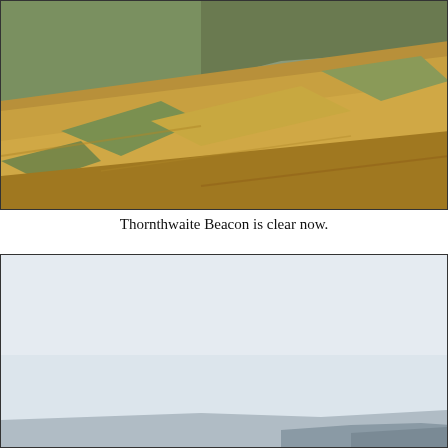[Figure (photo): Hillside landscape photograph showing a steep grassy slope with golden-brown and green vegetation. The hillside rises from lower left to upper right with patches of green scrub and golden dry grass covering the slope.]
Thornthwaite Beacon is clear now.
[Figure (photo): Photograph showing a mostly pale grey-white misty sky with a very faint dark hillside or moorland ridge barely visible along the bottom edge of the image.]